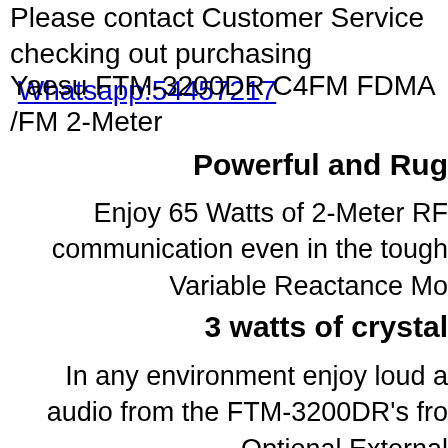Please contact Customer Service checking out purchasing Whatsapp:54457217
Yaesu FTM-3200DR C4FM FDMA /FM 2-Meter
Powerful and Rug
Enjoy 65 Watts of 2-Meter RF communication even in the tough Variable Reactance Mo
3 watts of crystal
In any environment enjoy loud audio from the FTM-3200DR's fro Optional External
Digital and A
There is no reason to limit comm chosen to transition to Digital. Th